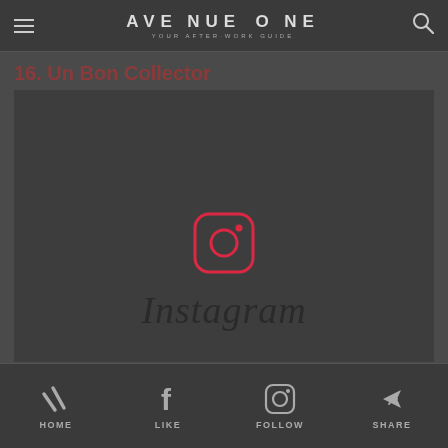AVENUE ONE — YOUR AFTER-WORK GUIDE
16. Un Bon Collector
[Figure (screenshot): Instagram placeholder image showing Instagram logo icon and wordmark 'Instagram' in script font on a dark background]
HOME | LIKE | FOLLOW | SHARE